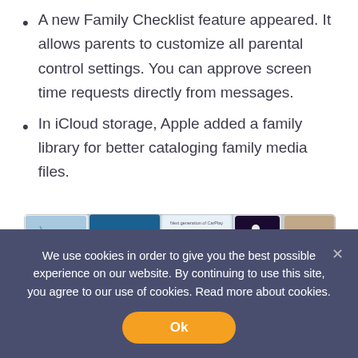A new Family Checklist feature appeared. It allows parents to customize all parental control settings. You can approve screen time requests directly from messages.
In iCloud storage, Apple added a family library for better cataloging family media files.
[Figure (screenshot): Screenshot composite showing iOS 16 features including Shared Photo Library, Live Activities, Next generation of CarPlay, Pay Later, New Memoji customizations, Life straight from Background, Notification views, and an iOS logo.]
We use cookies in order to give you the best possible experience on our website. By continuing to use this site, you agree to our use of cookies. Read more about cookies.